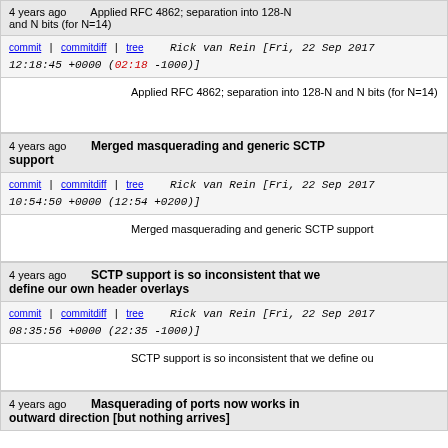4 years ago   Applied RFC 4862; separation into 128-N and N bits (for N=14)
commit | commitdiff | tree   Rick van Rein [Fri, 22 Sep 2017 12:18:45 +0000 (02:18 -1000)]
Applied RFC 4862; separation into 128-N and N bits (for N=14)
4 years ago   Merged masquerading and generic SCTP support
commit | commitdiff | tree   Rick van Rein [Fri, 22 Sep 2017 10:54:50 +0000 (12:54 +0200)]
Merged masquerading and generic SCTP support
4 years ago   SCTP support is so inconsistent that we define our own header overlays
commit | commitdiff | tree   Rick van Rein [Fri, 22 Sep 2017 08:35:56 +0000 (22:35 -1000)]
SCTP support is so inconsistent that we define ou
4 years ago   Masquerading of ports now works in outward direction [but nothing arrives]